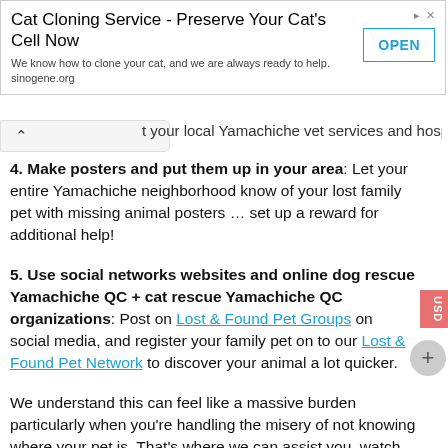[Figure (other): Advertisement banner for Cat Cloning Service - Preserve Your Cat's Cell Now. Text: We know how to clone your cat, and we are always ready to help. sinogene.org. Button: OPEN]
t your local Yamachiche vet services and hospitals.
4. Make posters and put them up in your area: Let your entire Yamachiche neighborhood know of your lost family pet with missing animal posters … set up a reward for additional help!
5. Use social networks websites and online dog rescue Yamachiche QC + cat rescue Yamachiche QC organizations: Post on Lost & Found Pet Groups on social media, and register your family pet on to our Lost & Found Pet Network to discover your animal a lot quicker.
We understand this can feel like a massive burden particularly when you're handling the misery of not knowing where your pet is. That's where we can assist you, watch this